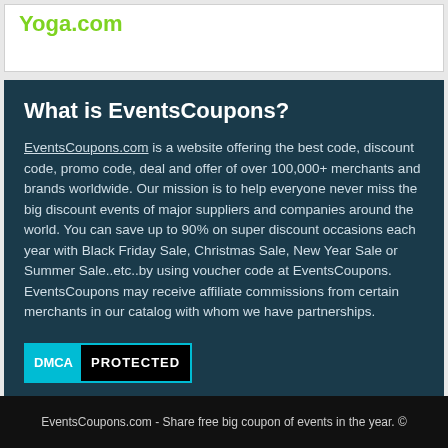Yoga.com
What is EventsCoupons?
EventsCoupons.com is a website offering the best code, discount code, promo code, deal and offer of over 100,000+ merchants and brands worldwide. Our mission is to help everyone never miss the big discount events of major suppliers and companies around the world. You can save up to 90% on super discount occasions each year with Black Friday Sale, Christmas Sale, New Year Sale or Summer Sale..etc..by using voucher code at EventsCoupons.
EventsCoupons may receive affiliate commissions from certain merchants in our catalog with whom we have partnerships.
[Figure (logo): DMCA Protected badge with teal DMCA label on left and white PROTECTED text on black background]
EventsCoupons.com - Share free big coupon of events in the year. ©